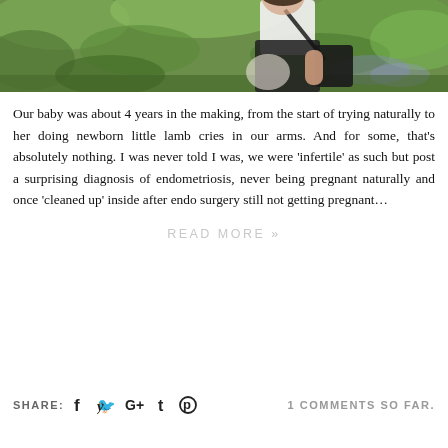[Figure (photo): Outdoor photo of a pregnant woman in a white top and dark overalls/dress, standing among green trees and wildflowers (bluebells). The photo is cropped to show the torso and surroundings.]
Our baby was about 4 years in the making, from the start of trying naturally to her doing newborn little lamb cries in our arms. And for some, that's absolutely nothing. I was never told I was, we were 'infertile' as such but post a surprising diagnosis of endometriosis, never being pregnant naturally and once 'cleaned up' inside after endo surgery still not getting pregnant…
READ MORE »
SHARE:
1 COMMENTS SO FAR.